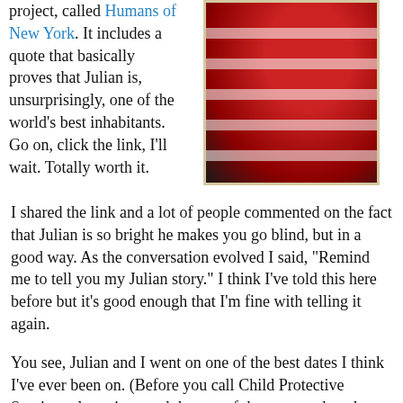project, called Humans of New York. It includes a quote that basically proves that Julian is, unsurprisingly, one of the world's best inhabitants. Go on, click the link, I'll wait. Totally worth it.
[Figure (photo): A person wearing a red and white striped shirt, partial view showing torso and arms, with a blue wristband visible.]
I shared the link and a lot of people commented on the fact that Julian is so bright he makes you go blind, but in a good way. As the conversation evolved I said, "Remind me to tell you my Julian story." I think I've told this here before but it's good enough that I'm fine with telling it again.
You see, Julian and I went on one of the best dates I think I've ever been on. (Before you call Child Protective Services please just read the rest of the story and cool your dialing finger.) This was about 7, or maybe 8, years ago so he'd have been around 10. His mom and dad were performing. Both he and I were going to see the show but there was a long stretch of time between when they needed to arrive and